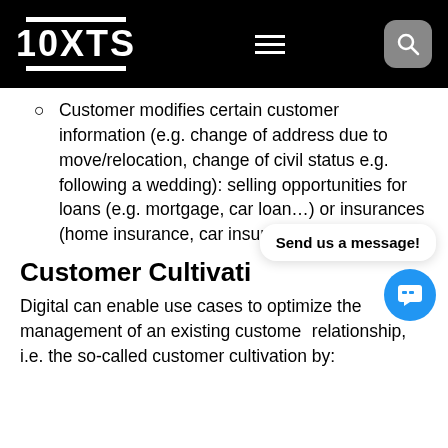10XTS
Customer modifies certain customer information (e.g. change of address due to move/relocation, change of civil status e.g. following a wedding): selling opportunities for loans (e.g. mortgage, car loan…) or insurances (home insurance, car insurance…).
Customer Cultivation
Digital can enable use cases to optimize the management of an existing customer relationship, i.e. the so-called customer cultivation by: